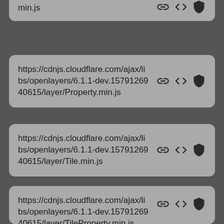min.js
https://cdnjs.cloudflare.com/ajax/libs/openlayers/6.1.1-dev.1579126940615/layer/Property.min.js
https://cdnjs.cloudflare.com/ajax/libs/openlayers/6.1.1-dev.1579126940615/layer/Tile.min.js
https://cdnjs.cloudflare.com/ajax/libs/openlayers/6.1.1-dev.1579126940615/layer/TileProperty.min.js